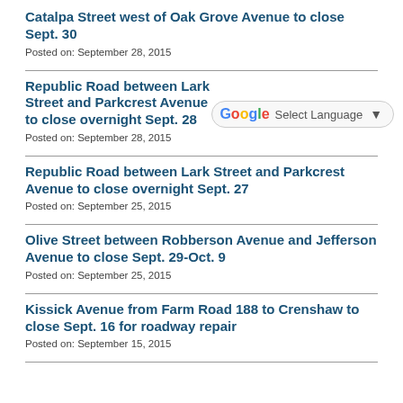Catalpa Street west of Oak Grove Avenue to close Sept. 30
Posted on: September 28, 2015
Republic Road between Lark Street and Parkcrest Avenue to close overnight Sept. 28
Posted on: September 28, 2015
Republic Road between Lark Street and Parkcrest Avenue to close overnight Sept. 27
Posted on: September 25, 2015
Olive Street between Robberson Avenue and Jefferson Avenue to close Sept. 29-Oct. 9
Posted on: September 25, 2015
Kissick Avenue from Farm Road 188 to Crenshaw to close Sept. 16 for roadway repair
Posted on: September 15, 2015